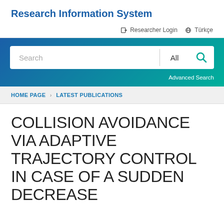Research Information System
Researcher Login  Türkçe
[Figure (screenshot): Search bar with 'Search' input field, 'All' dropdown, and a teal magnifying glass search button, inside a blue-to-teal gradient banner with an 'Advanced Search' link below]
HOME PAGE > LATEST PUBLICATIONS
COLLISION AVOIDANCE VIA ADAPTIVE TRAJECTORY CONTROL IN CASE OF A SUDDEN DECREASE